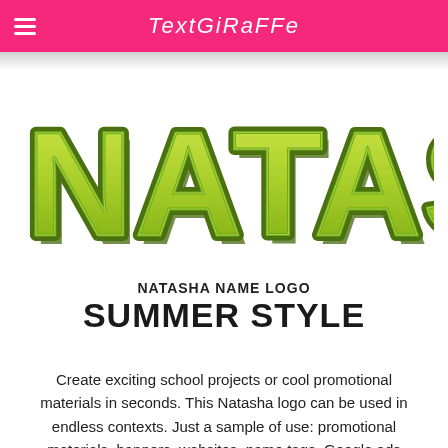TextGiraffe
[Figure (logo): NATASHA name logo in large lime-green bold bubble letters with dark green outline and shadow, summer style graphic text]
NATASHA NAME LOGO
SUMMER STYLE
Create exciting school projects or cool promotional materials in seconds. This Natasha logo can be used in endless contexts. Just a sample of use: promotional materials, banners, websites, name tags, Google ads